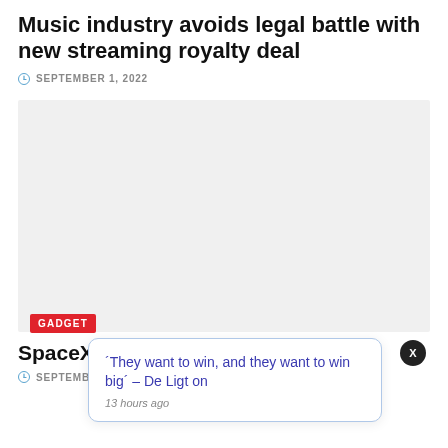Music industry avoids legal battle with new streaming royalty deal
SEPTEMBER 1, 2022
[Figure (other): Large light gray image placeholder rectangle]
GADGET
SpaceX sec... missions as...
SEPTEMBER 1, 2022
'They want to win, and they want to win big' – De Ligt on
13 hours ago